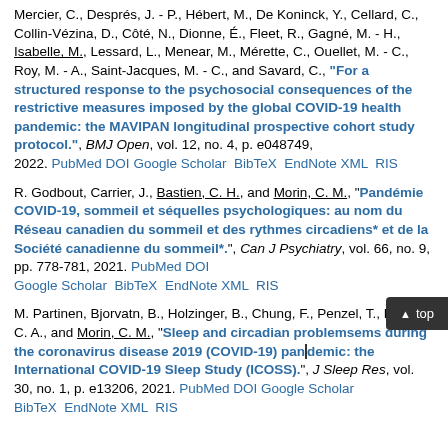Mercier, C., Després, J. - P., Hébert, M., De Koninck, Y., Cellard, C., Collin-Vézina, D., Côté, N., Dionne, É., Fleet, R., Gagné, M. - H., Isabelle, M., Lessard, L., Menear, M., Mérette, C., Ouellet, M. - C., Roy, M. - A., Saint-Jacques, M. - C., and Savard, C., "For a structured response to the psychosocial consequences of the restrictive measures imposed by the global COVID-19 health pandemic: the MAVIPAN longitudinal prospective cohort study protocol.", BMJ Open, vol. 12, no. 4, p. e048749, 2022. PubMed DOI Google Scholar BibTeX EndNote XML RIS
R. Godbout, Carrier, J., Bastien, C. H., and Morin, C. M., "Pandémie COVID-19, sommeil et séquelles psychologiques: au nom du Réseau canadien du sommeil et des rythmes circadiens* et de la Société canadienne du sommeil*.", Can J Psychiatry, vol. 66, no. 9, pp. 778-781, 2021. PubMed DOI Google Scholar BibTeX EndNote XML RIS
M. Partinen, Bjorvatn, B., Holzinger, B., Chung, F., Penzel, T., Espie, C. A., and Morin, C. M., "Sleep and circadian problems during the coronavirus disease 2019 (COVID-19) pandemic: the International COVID-19 Sleep Study (ICOSS).", J Sleep Res, vol. 30, no. 1, p. e13206, 2021. PubMed DOI Google Scholar BibTeX EndNote XML RIS